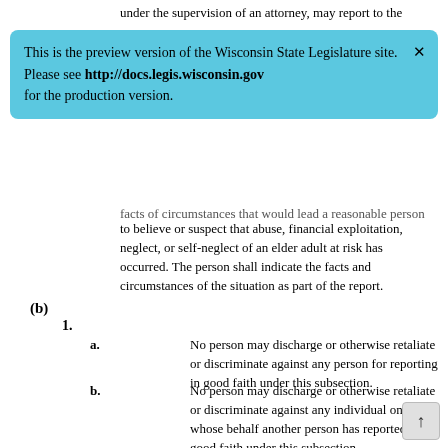under the supervision of an attorney, may report to the
This is the preview version of the Wisconsin State Legislature site. Please see http://docs.legis.wisconsin.gov for the production version.
facts of circumstances that would lead a reasonable person to believe or suspect that abuse, financial exploitation, neglect, or self-neglect of an elder adult at risk has occurred. The person shall indicate the facts and circumstances of the situation as part of the report.
(b)
1.
a. No person may discharge or otherwise retaliate or discriminate against any person for reporting in good faith under this subsection.
b. No person may discharge or otherwise retaliate or discriminate against any individual on whose behalf another person has reported in good faith under this subsection.
cm. Any discharge of a person or act of retaliation or discrimination that is taken against a person who makes a report under this subsection, within 120 days after the report is made, establishes a rebuttable presumption that the discharge or act is made in